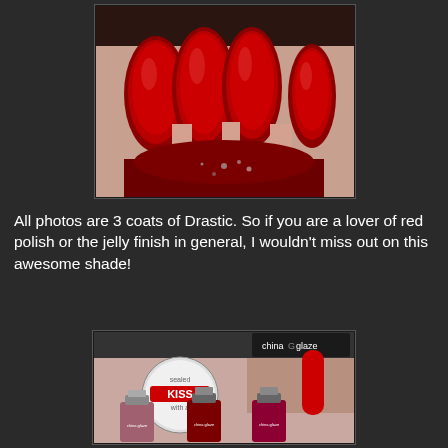[Figure (photo): Close-up photo of four fingernails painted in deep red/crimson jelly nail polish, with a nail polish bottle visible below the nails]
All photos are 3 coats of Drastic. So if you are a lover of red polish or the jelly finish in general, I wouldn't miss out on this awesome shade!
[Figure (photo): China Glaze 'Sealed with a Kiss' nail polish gift set packaging showing three red/pink nail polish bottles]